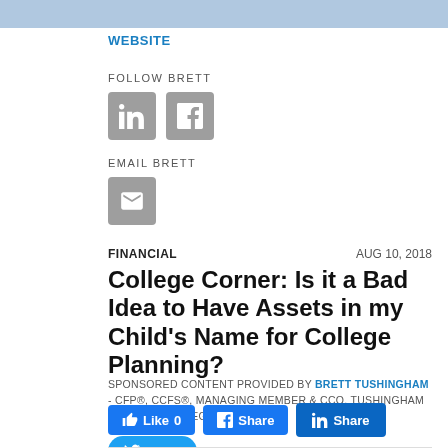[Figure (photo): Cropped photo strip at top of page showing person in blue shirt]
WEBSITE
FOLLOW BRETT
[Figure (illustration): LinkedIn and Facebook social media icon buttons (grey rounded squares)]
EMAIL BRETT
[Figure (illustration): Email envelope icon button (grey rounded square)]
FINANCIAL
AUG 10, 2018
College Corner: Is it a Bad Idea to Have Assets in my Child's Name for College Planning?
SPONSORED CONTENT PROVIDED BY BRETT TUSHINGHAM - CFP®, CCFS®, MANAGING MEMBER & CCO, TUSHINGHAM WEALTH STRATEGIES
[Figure (infographic): Social share buttons: Like 0, Facebook Share, LinkedIn Share, Tweet]